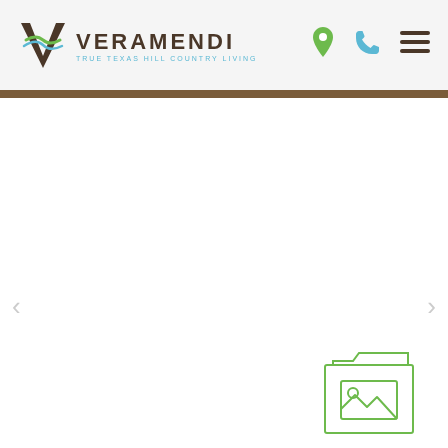[Figure (logo): Veramendi logo with V icon and text 'VERAMENDI — TRUE TEXAS HILL COUNTRY LIVING']
[Figure (screenshot): Navigation header icons: map pin (green), phone (blue), hamburger menu (dark brown)]
[Figure (screenshot): Main content area with left and right carousel arrows and a photo gallery thumbnail icon in the bottom right corner]